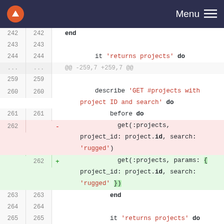[Figure (screenshot): Navigation bar with logo and Menu button on dark background]
Git diff view showing code changes in a Ruby test file. Lines 243-265 and 283-284 visible. Removed line 262 shows get(:projects, project_id: project.id, search: 'rugged'). Added line 262 shows get(:projects, params: { project_id: project.id, search: 'rugged' })